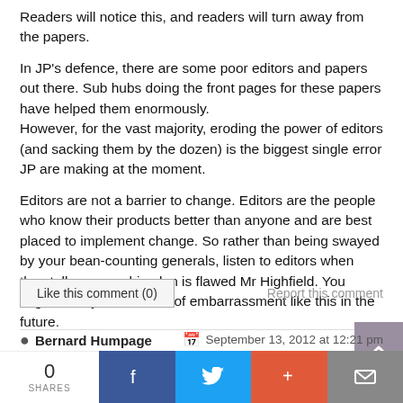Readers will notice this, and readers will turn away from the papers.

In JP's defence, there are some poor editors and papers out there. Sub hubs doing the front pages for these papers have helped them enormously.
However, for the vast majority, eroding the power of editors (and sacking them by the dozen) is the biggest single error JP are making at the moment.

Editors are not a barrier to change. Editors are the people who know their products better than anyone and are best placed to implement change. So rather than being swayed by your bean-counting generals, listen to editors when they tell you your big plan is flawed Mr Highfield. You might save yourself a lot of embarrassment like this in the future.
Like this comment (0) | Report this comment
Bernard Humpage | September 13, 2012 at 12:21 pm | Permalink